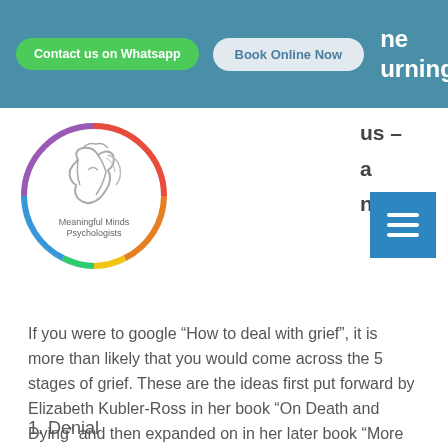[Figure (screenshot): Website navigation bar with teal background, green 'Contact us on Whatsapp' button, grey 'Book Online Now' button, and partial text on the right side]
[Figure (logo): Meaningful Minds Psychologists circular logo with rainbow-colored border and stylized horse head illustration]
If you were to google “How to deal with grief”, it is more than likely that you would come across the 5 stages of grief. These are the ideas first put forward by Elizabeth Kubler-Ross in her book “On Death and Dying” and then expanded on in her later book “More on Death and Dying”. These stages are, of course:
1. Denial